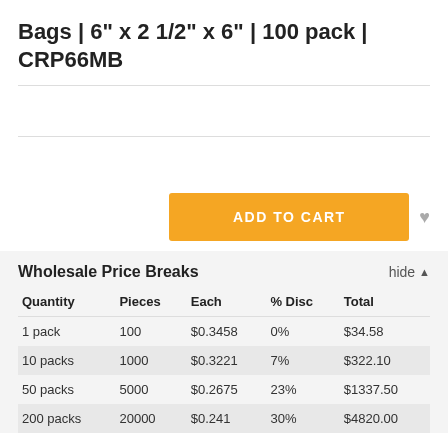Bags | 6" x 2 1/2" x 6" | 100 pack | CRP66MB
[Figure (other): Add to Cart button (orange) and heart/wishlist icon]
Wholesale Price Breaks
| Quantity | Pieces | Each | % Disc | Total |
| --- | --- | --- | --- | --- |
| 1 pack | 100 | $0.3458 | 0% | $34.58 |
| 10 packs | 1000 | $0.3221 | 7% | $322.10 |
| 50 packs | 5000 | $0.2675 | 23% | $1337.50 |
| 200 packs | 20000 | $0.241 | 30% | $4820.00 |